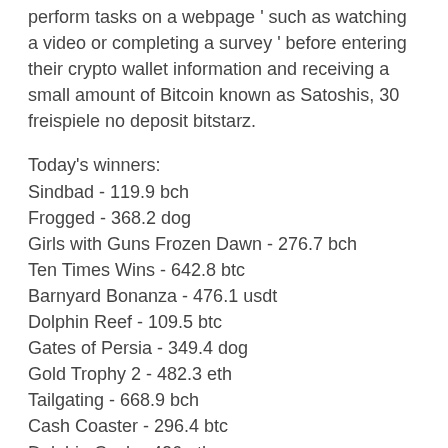perform tasks on a webpage ' such as watching a video or completing a survey ' before entering their crypto wallet information and receiving a small amount of Bitcoin known as Satoshis, 30 freispiele no deposit bitstarz.
Today's winners:
Sindbad - 119.9 bch
Frogged - 368.2 dog
Girls with Guns Frozen Dawn - 276.7 bch
Ten Times Wins - 642.8 btc
Barnyard Bonanza - 476.1 usdt
Dolphin Reef - 109.5 btc
Gates of Persia - 349.4 dog
Gold Trophy 2 - 482.3 eth
Tailgating - 668.9 bch
Cash Coaster - 296.4 btc
Dolphin Cash - 426 eth
Piggy Riches - 529.6 ltc
Agent Jane Blonde - 458.5 btc
Journey To The West - 178.3 bch